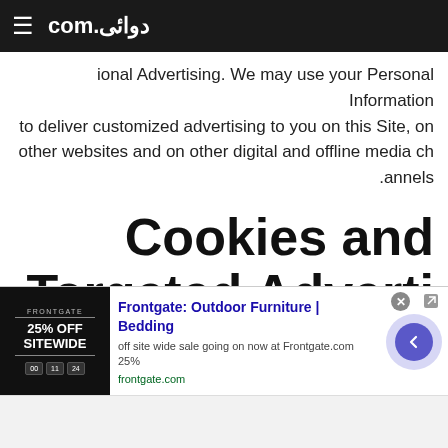≡  دوائی.com
ional Advertising. We may use your Personal Information to deliver customized advertising to you on this Site, on other websites and on other digital and offline media channels.
Cookies and Targeted Advertising
1. Cookies, Web Beacons, and IP Address Information
Cookies" are small pieces of information that a website"
[Figure (screenshot): Frontgate outdoor furniture advertisement banner with '25% OFF SITEWIDE' promotional image and text 'Frontgate: Outdoor Furniture | Bedding, off site wide sale going on now at Frontgate.com 25%, frontgate.com']